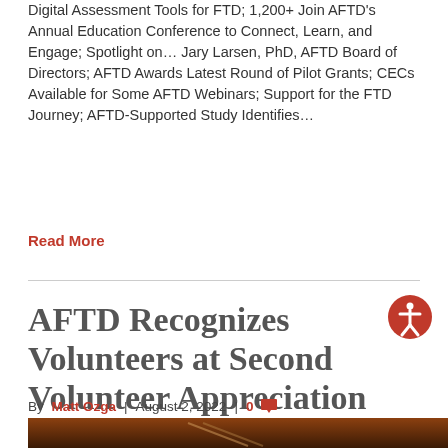Digital Assessment Tools for FTD; 1,200+ Join AFTD's Annual Education Conference to Connect, Learn, and Engage; Spotlight on… Jary Larsen, PhD, AFTD Board of Directors; AFTD Awards Latest Round of Pilot Grants; CECs Available for Some AFTD Webinars; Support for the FTD Journey; AFTD-Supported Study Identifies…
Read More
AFTD Recognizes Volunteers at Second Volunteer Appreciation Dinner
By Matt Ozga | August 2, 2022 | 0
[Figure (photo): Bottom strip showing a warm-toned photograph, partially visible]